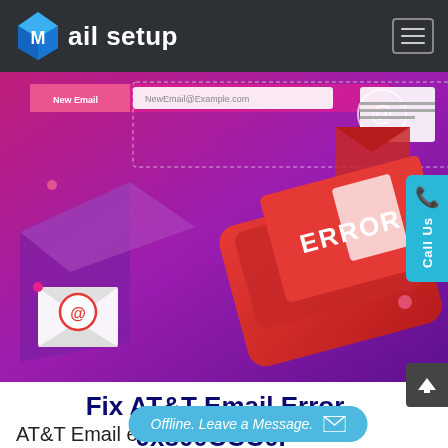Mail setup
[Figure (illustration): Hero banner illustration showing email error concept: smartphone with red ERROR card, envelope icons with @ symbol, pink/purple gradient background, email input field UI at top]
Fix AT&T Email Error 0x800CCC0F
AT&T Email error 0x...
Offline. Leave a Message.